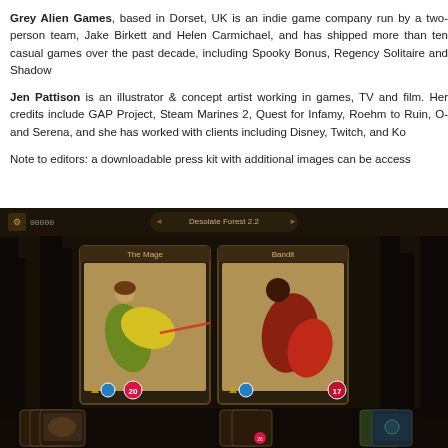Grey Alien Games, based in Dorset, UK is an indie game company run by a two-person team, Jake Birkett and Helen Carmichael, and has shipped more than ten casual games over the past decade, including Spooky Bonus, Regency Solitaire and Shadow Hand.
Jen Pattison is an illustrator & concept artist working in games, TV and film. Her credits include GAP Project, Steam Marines 2, Quest for Infamy, Roehm to Ruin, Orwell, Loot and Serena, and she has worked with clients including Disney, Twitch, and Konami.
Note to editors: a downloadable press kit with additional images can be accessed
[Figure (screenshot): A dark fantasy card game screenshot showing two character cards: 'The Mage' (a cloaked figure with green/yellow flowing garments) and 'Bandit' (a figure in a red cloak), fighting in a dark forest setting called 'Desolate Forest 2.2'. The bottom shows card hands and UI elements with health indicators showing 20 and 17.]